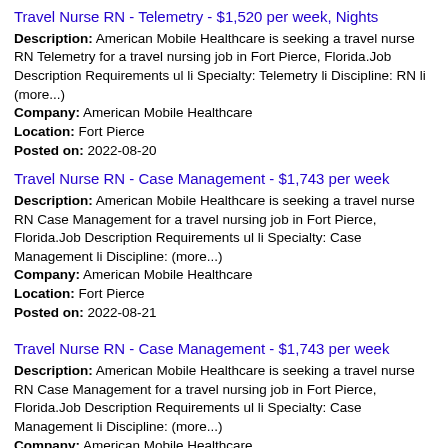Travel Nurse RN - Telemetry - $1,520 per week, Nights
Description: American Mobile Healthcare is seeking a travel nurse RN Telemetry for a travel nursing job in Fort Pierce, Florida.Job Description Requirements ul li Specialty: Telemetry li Discipline: RN li (more...) Company: American Mobile Healthcare Location: Fort Pierce Posted on: 2022-08-20
Travel Nurse RN - Case Management - $1,743 per week
Description: American Mobile Healthcare is seeking a travel nurse RN Case Management for a travel nursing job in Fort Pierce, Florida.Job Description Requirements ul li Specialty: Case Management li Discipline: (more...) Company: American Mobile Healthcare Location: Fort Pierce Posted on: 2022-08-21
Travel Nurse RN - Case Management - $1,743 per week
Description: American Mobile Healthcare is seeking a travel nurse RN Case Management for a travel nursing job in Fort Pierce, Florida.Job Description Requirements ul li Specialty: Case Management li Discipline: (more...) Company: American Mobile Healthcare Location: Fort Pierce Posted on: 2022-08-22